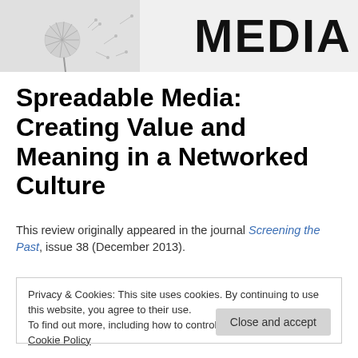[Figure (illustration): Header image: dandelion flower on left side with 'MEDIA' text in large bold black letters on right side, light gray background]
Spreadable Media: Creating Value and Meaning in a Networked Culture
This review originally appeared in the journal Screening the Past, issue 38 (December 2013).
Privacy & Cookies: This site uses cookies. By continuing to use this website, you agree to their use.
To find out more, including how to control cookies, see here: Cookie Policy